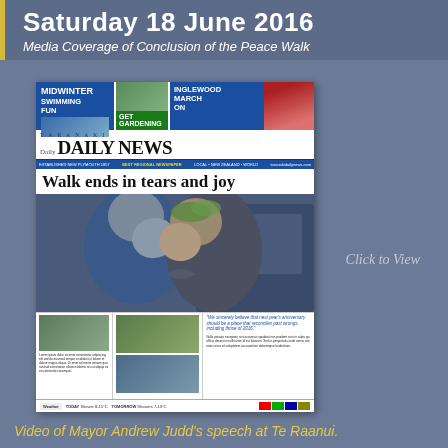Saturday 18 June 2016
Media Coverage of Conclusion of the Peace Walk
[Figure (photo): Scan of the Taranaki Daily News front page dated June 18 2016, showing headline 'Walk ends in tears and joy' with a large photograph of two people sharing a hongi (traditional Maori greeting), and smaller photos of crowds below.]
Click to View
Video of Mayor Andrew Judd's speech at Te Raanui.